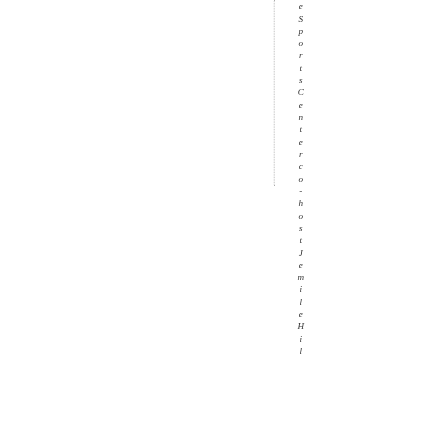eSportsCentercо.host JemileHil